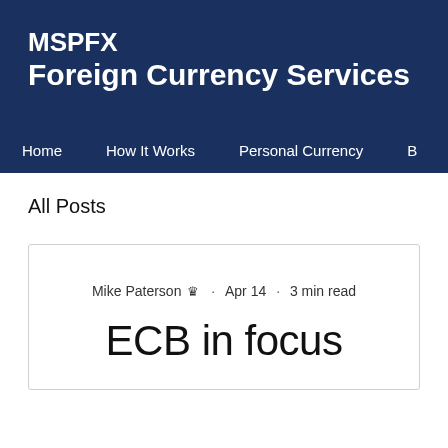MSPFX Foreign Currency Services
Home · How It Works · Personal Currency
All Posts
Mike Paterson 👑 · Apr 14 · 3 min read
ECB in focus